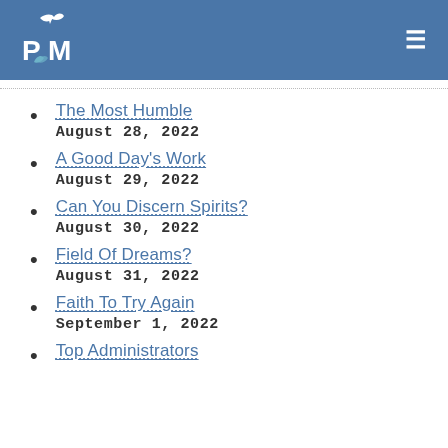PM logo and navigation menu
The Most Humble
August 28, 2022
A Good Day's Work
August 29, 2022
Can You Discern Spirits?
August 30, 2022
Field Of Dreams?
August 31, 2022
Faith To Try Again
September 1, 2022
Top Administrators